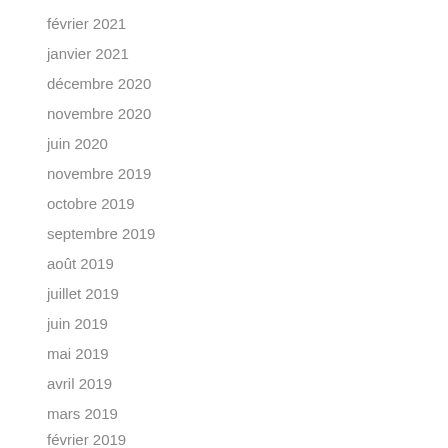février 2021
janvier 2021
décembre 2020
novembre 2020
juin 2020
novembre 2019
octobre 2019
septembre 2019
août 2019
juillet 2019
juin 2019
mai 2019
avril 2019
mars 2019
février 2019